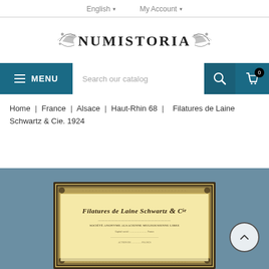English ▾   My Account ▾
[Figure (logo): Numistoria decorative logo with ornamental flourishes and serif text]
≡ MENU
Search our catalog
Home | France | Alsace | Haut-Rhin 68 | Filatures de Laine Schwartz & Cie. 1924
[Figure (photo): Vintage French share certificate for Filatures de Laine Schwartz & Cie, 1924, with ornate border and dark decorative frame on cream/yellow paper]